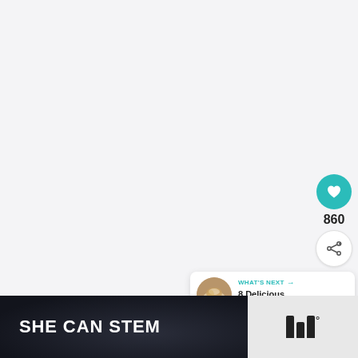[Figure (screenshot): Large blank/light grey area representing a webpage screenshot with white/light background]
[Figure (infographic): Teal circular heart/like button with heart icon]
860
[Figure (infographic): White circular share button with share icon]
[Figure (infographic): What's Next card with thumbnail of Irish Cream dish, teal arrow, text: WHAT'S NEXT → 8 Delicious Irish Cream...]
SHE CAN STEM
[Figure (logo): TeachersPayTeachers or similar logo with three vertical bars and degree symbol]